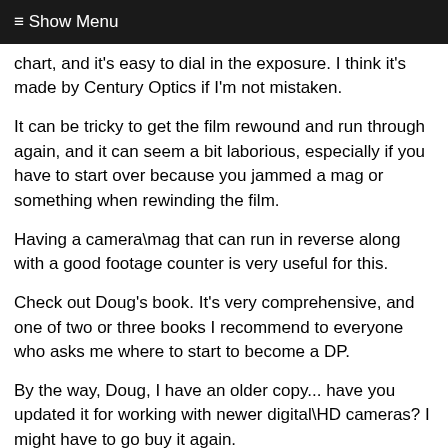≡ Show Menu
chart, and it's easy to dial in the exposure. I think it's made by Century Optics if I'm not mistaken.
It can be tricky to get the film rewound and run through again, and it can seem a bit laborious, especially if you have to start over because you jammed a mag or something when rewinding the film.
Having a camera\mag that can run in reverse along with a good footage counter is very useful for this.
Check out Doug's book. It's very comprehensive, and one of two or three books I recommend to everyone who asks me where to start to become a DP.
By the way, Doug, I have an older copy... have you updated it for working with newer digital\HD cameras? I might have to go buy it again.
Best,
Graham Futerfas